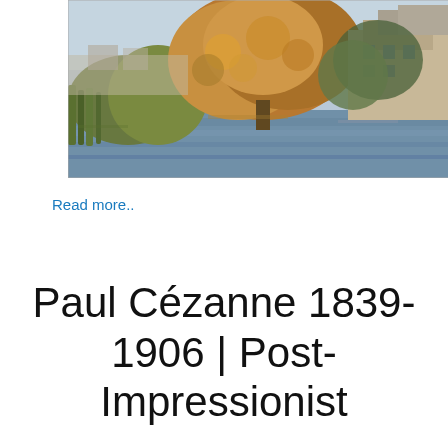[Figure (photo): Impressionist landscape painting showing a river scene with trees in autumn colors, reeds in the foreground, and buildings visible in the background. The painting has loose, textured brushwork typical of the Impressionist style.]
Read more..
Paul Cézanne 1839-1906 | Post-Impressionist